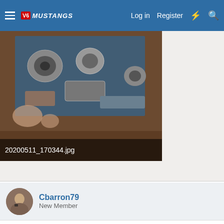V6 Mustangs — Log in  Register
[Figure (photo): Top-down photo of engine parts laid out on a workbench with blue tarp, with filename overlay '20200511_170344.jpg']
Cbarron79
New Member
Jun 9, 2020  #4
I may be done before you.just ordered my s/c and should be here anytime haven't ordered the modbox kit yet but I will soon . Fuel injectors will be upgraded but I can't do the pistons right now. So yeah I'll stay at 8 psi for now
Are you going to use the stock Airbox? Ot fabricate something else?